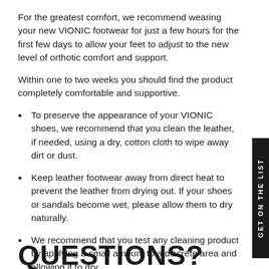For the greatest comfort, we recommend wearing your new VIONIC footwear for just a few hours for the first few days to allow your feet to adjust to the new level of orthotic comfort and support.
Within one to two weeks you should find the product completely comfortable and supportive.
To preserve the appearance of your VIONIC shoes, we recommend that you clean the leather, if needed, using a dry, cotton cloth to wipe away dirt or dust.
Keep leather footwear away from direct heat to prevent the leather from drying out. If your shoes or sandals become wet, please allow them to dry naturally.
We recommend that you test any cleaning product by applying a small amount to a discrete area and allowing it to dry.
Do NOT use cleaners which contain acid or detergents, as they may damage and prematurely age the leather.
QUESTIONS?